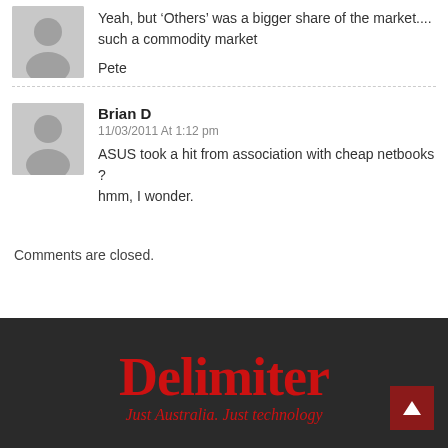Yeah, but ‘Others’ was a bigger share of the market.... such a commodity market
Pete
Brian D
11/03/2011 At 1:12 pm
ASUS took a hit from association with cheap netbooks ? hmm, I wonder.
Comments are closed.
Delimiter
Just Australia. Just technology